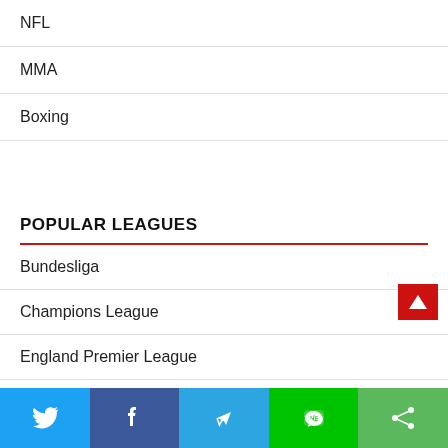NFL
MMA
Boxing
POPULAR LEAGUES
Bundesliga
Champions League
England Premier League
Eredivisie